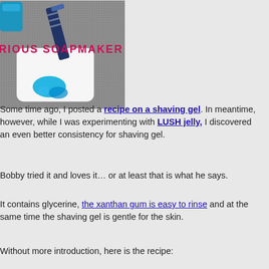[Figure (photo): Photo of a white soap dish with blue gel/liquid and a razor, on a grey textured background. Overlaid with 'RIOUS SOAPMAKER' logo text in pink/magenta.]
Some time ago, I posted a recipe on a shaving gel. In meantime, however, while I was experimenting with LUSH jelly, I discovered an even better consistency for shaving gel.
Bobby tried it and loves it… or at least that is what he says.
It contains glycerine, the xanthan gum is easy to rinse and at the same time the shaving gel is gentle for the skin.
Without more introduction, here is the recipe: